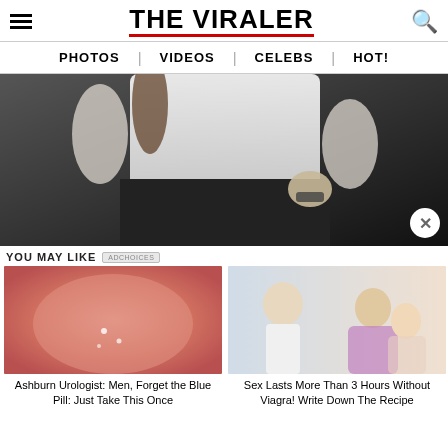THE VIRALER
PHOTOS | VIDEOS | CELEBS | HOT!
[Figure (photo): Person in white top and black skirt with watch, midsection view against dark background]
YOU MAY LIKE
[Figure (photo): Close-up image of skin texture, advertisement thumbnail]
Ashburn Urologist: Men, Forget the Blue Pill: Just Take This Once
[Figure (photo): Doctor and illustrated couple, advertisement thumbnail]
Sex Lasts More Than 3 Hours Without Viagra! Write Down The Recipe